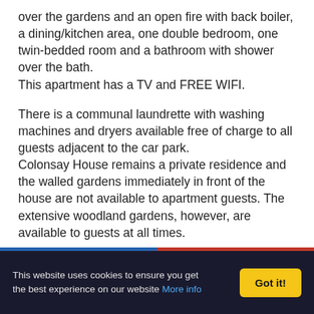over the gardens and an open fire with back boiler, a dining/kitchen area, one double bedroom, one twin-bedded room and a bathroom with shower over the bath. This apartment has a TV and FREE WIFI.
There is a communal laundrette with washing machines and dryers available free of charge to all guests adjacent to the car park. Colonsay House remains a private residence and the walled gardens immediately in front of the house are not available to apartment guests. The extensive woodland gardens, however, are available to guests at all times.
Dogs are allowed in this apartment.
AVAILABLE FOR SHORT BREAKS ALL YEAR
This website uses cookies to ensure you get the best experience on our website More info